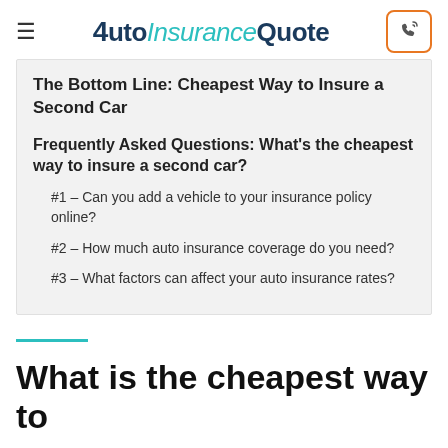AutoInsuranceQuote
The Bottom Line: Cheapest Way to Insure a Second Car
Frequently Asked Questions: What's the cheapest way to insure a second car?
#1 – Can you add a vehicle to your insurance policy online?
#2 – How much auto insurance coverage do you need?
#3 – What factors can affect your auto insurance rates?
What is the cheapest way to